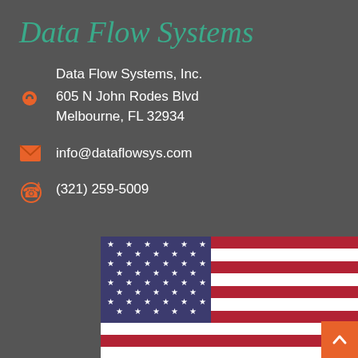Data Flow Systems
Data Flow Systems, Inc.
605 N John Rodes Blvd
Melbourne, FL 32934
info@dataflowsys.com
(321) 259-5009
[Figure (illustration): United States flag (stars and stripes) shown partially]